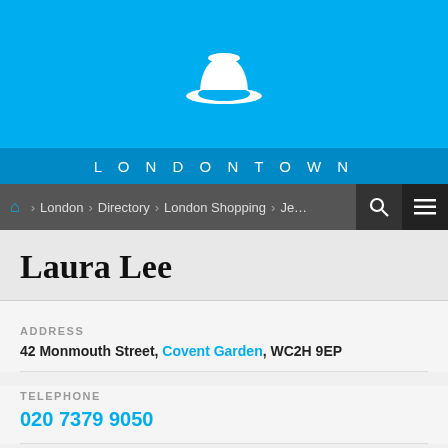[Figure (logo): LondonTown white bowler hat logo on blue background with LONDONTOWN text below]
London > Directory > London Shopping > Jewellery
Laura Lee
ADDRESS
42 Monmouth Street, Covent Garden, WC2H 9EP
TELEPHONE
020 7379 9050
NEARBY
Hotels, Entertainment, Sights and Attractions, Restaurants,